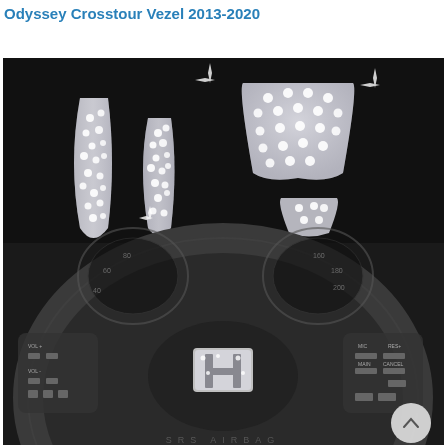Odyssey Crosstour Vezel 2013-2020
[Figure (photo): Product photo showing crystal/rhinestone steering wheel emblem covers for Honda vehicles (Odyssey, Crosstour, Vezel 2013-2020). Top half shows four individual bling crystal-studded trim pieces on black background. Bottom half shows a Honda steering wheel with crystal-decorated H logo emblem installed, plus control buttons on both sides.]